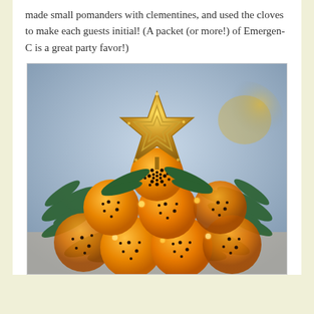made small pomanders with clementines, and used the cloves to make each guests initial! (A packet (or more!) of Emergen-C is a great party favor!)
[Figure (photo): A festive arrangement of orange clementines/pomanders studded with cloves, stacked in a pyramid tree shape, decorated with pine/fir branches. A gold glitter star tree topper sits on top. Warm fairy lights glow between the oranges. The background is blurred with soft blue and gold tones.]